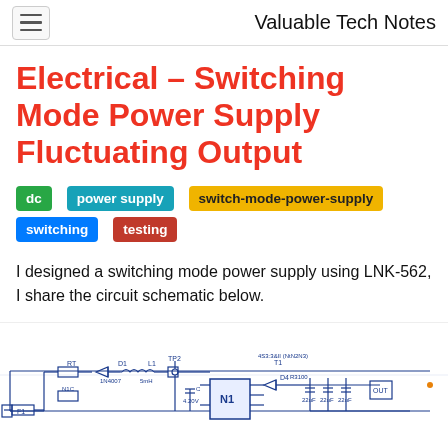Valuable Tech Notes
Electrical – Switching Mode Power Supply Fluctuating Output
dc
power supply
switch-mode-power-supply
switching
testing
I designed a switching mode power supply using LNK-562, I share the circuit schematic below.
[Figure (circuit-diagram): Switching mode power supply circuit schematic showing components including F1, RT, D1, L1 (5mH), TP2, N1, T1, 4N5:3&II (NtN2N3), D4, R3100, capacitors (22uF), and related circuit elements]